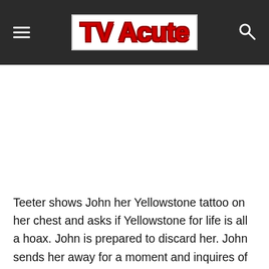TV Acute
[Figure (other): White advertisement/blank area below header]
Teeter shows John her Yellowstone tattoo on her chest and asks if Yellowstone for life is all a hoax. John is prepared to discard her. John sends her away for a moment and inquires of Rip about Teeter’s tattoo. Rip says that it happened after they “took care of that creature in the forest,” and John is surprised to learn that everyone involved now wears the ranch’s logo.